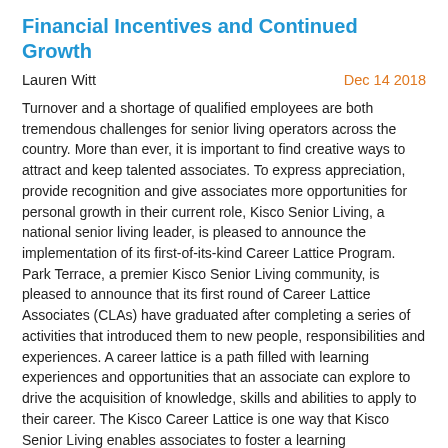Financial Incentives and Continued Growth
Lauren Witt
Dec 14 2018
Turnover and a shortage of qualified employees are both tremendous challenges for senior living operators across the country. More than ever, it is important to find creative ways to attract and keep talented associates. To express appreciation, provide recognition and give associates more opportunities for personal growth in their current role, Kisco Senior Living, a national senior living leader, is pleased to announce the implementation of its first-of-its-kind Career Lattice Program. Park Terrace, a premier Kisco Senior Living community, is pleased to announce that its first round of Career Lattice Associates (CLAs) have graduated after completing a series of activities that introduced them to new people, responsibilities and experiences. A career lattice is a path filled with learning experiences and opportunities that an associate can explore to drive the acquisition of knowledge, skills and abilities to apply to their career. The Kisco Career Lattice is one way that Kisco Senior Living enables associates to foster a learning environment of continuous improvement for the benefit of the associates, residents and community as a whole. Rather than promoting up to another position, it provides lateral growth. Park Terrace serves as the pilot community for this program, and other